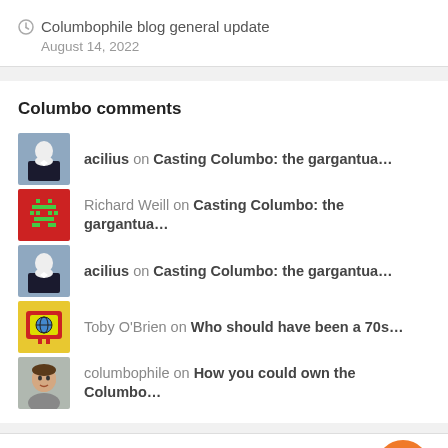Columbophile blog general update
August 14, 2022
Columbo comments
acilius on Casting Columbo: the gargantua…
Richard Weill on Casting Columbo: the gargantua…
acilius on Casting Columbo: the gargantua…
Toby O'Brien on Who should have been a 70s…
columbophile on How you could own the Columbo…
Site Translator